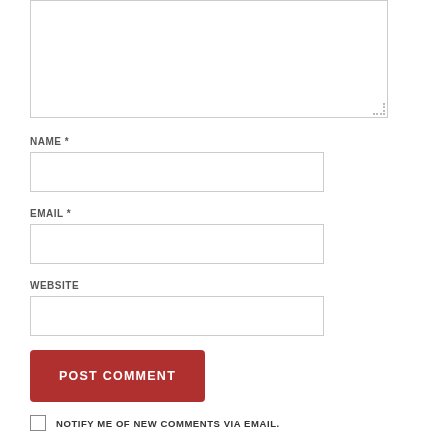[Figure (screenshot): A text area input box (comment field) with a resize handle at bottom-right, partially cropped at top]
NAME *
[Figure (screenshot): Name input text field, empty]
EMAIL *
[Figure (screenshot): Email input text field, empty]
WEBSITE
[Figure (screenshot): Website input text field, empty]
POST COMMENT
NOTIFY ME OF NEW COMMENTS VIA EMAIL.